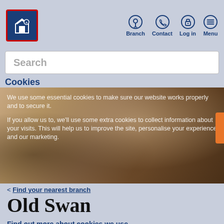Branch  Contact  Log in  Menu
Search
Cookies
[Figure (photo): A smiling woman in a dark navy uniform with a red neckerchief, standing in a warm-lit interior space, overlaid with semi-transparent cookie notice text]
We use some essential cookies to make sure our website works properly and to secure it.

If you allow us to, we'll use some extra cookies to collect information about your visits. This will help us to improve the site, personalise your experience and our marketing.
< Find your nearest branch
Old Swan
Find out more about cookies we use
Here today, here tomorrow
Allow all cookies